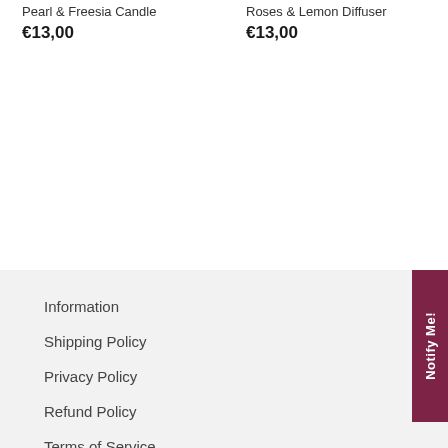Pearl & Freesia Candle
€13,00
Roses & Lemon Diffuser
€13,00
Information
Shipping Policy
Privacy Policy
Refund Policy
Terms of Service